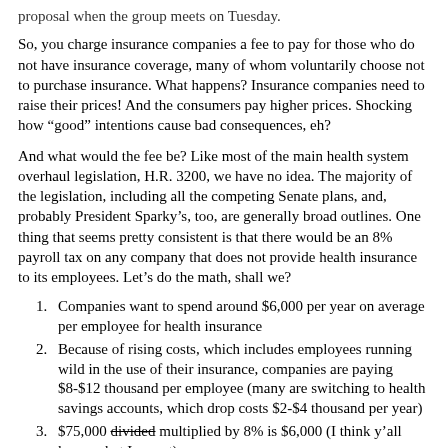proposal when the group meets on Tuesday.
So, you charge insurance companies a fee to pay for those who do not have insurance coverage, many of whom voluntarily choose not to purchase insurance. What happens? Insurance companies need to raise their prices! And the consumers pay higher prices. Shocking how “good” intentions cause bad consequences, eh?
And what would the fee be? Like most of the main health system overhaul legislation, H.R. 3200, we have no idea. The majority of the legislation, including all the competing Senate plans, and, probably President Sparky’s, too, are generally broad outlines. One thing that seems pretty consistent is that there would be an 8% payroll tax on any company that does not provide health insurance to its employees. Let’s do the math, shall we?
Companies want to spend around $6,000 per year on average per employee for health insurance
Because of rising costs, which includes employees running wild in the use of their insurance, companies are paying $8-$12 thousand per employee (many are switching to health savings accounts, which drop costs $2-$4 thousand per year)
$75,000 divided multiplied by 8% is $6,000 (I think y’all knew what I meant)
Companies have to deal with massive overhead to deal with their health insurance